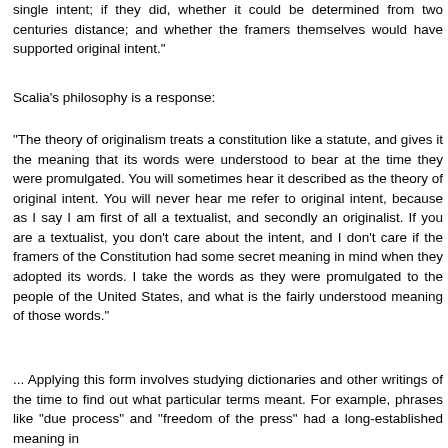single intent; if they did, whether it could be determined from two centuries distance; and whether the framers themselves would have supported original intent."
Scalia's philosophy is a response:
"The theory of originalism treats a constitution like a statute, and gives it the meaning that its words were understood to bear at the time they were promulgated. You will sometimes hear it described as the theory of original intent. You will never hear me refer to original intent, because as I say I am first of all a textualist, and secondly an originalist. If you are a textualist, you don't care about the intent, and I don't care if the framers of the Constitution had some secret meaning in mind when they adopted its words. I take the words as they were promulgated to the people of the United States, and what is the fairly understood meaning of those words."
... Applying this form involves studying dictionaries and other writings of the time to find out what particular terms meant. For example, phrases like "due process" and "freedom of the press" had a long-established meaning in